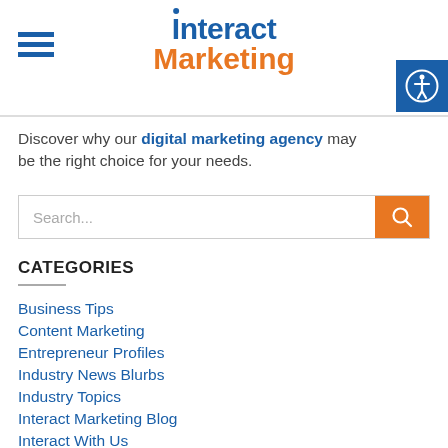Interact Marketing
Discover why our digital marketing agency may be the right choice for your needs.
Search...
CATEGORIES
Business Tips
Content Marketing
Entrepreneur Profiles
Industry News Blurbs
Industry Topics
Interact Marketing Blog
Interact With Us